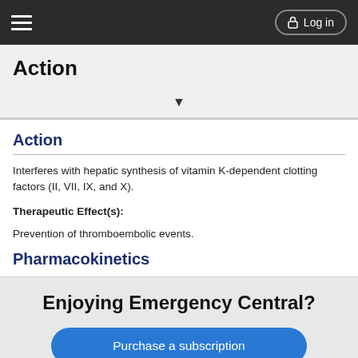Action | Log in
Action
Interferes with hepatic synthesis of vitamin K-dependent clotting factors (II, VII, IX, and X).
Therapeutic Effect(s):
Prevention of thromboembolic events.
Pharmacokinetics
Enjoying Emergency Central?
Purchase a subscription
I'm already a subscriber